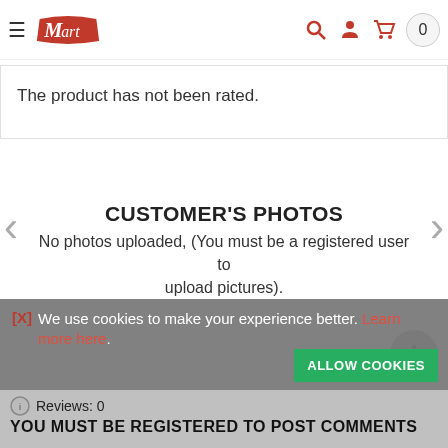Mart logo, hamburger menu, search, account, cart (0)
The product has not been rated.
CUSTOMER'S PHOTOS
No photos uploaded, (You must be a registered user to upload pictures).
[X] We use cookies to make your experience better. Learn more here.
ALLOW COOKIES
Reviews: 0
YOU MUST BE REGISTERED TO POST COMMENTS